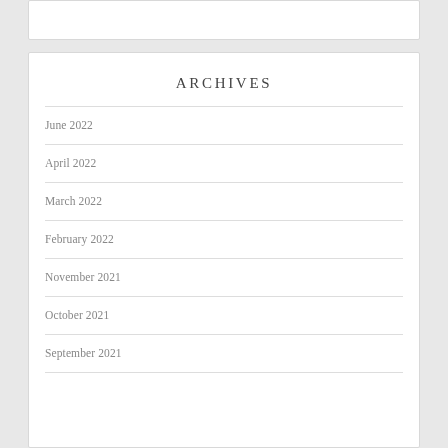ARCHIVES
June 2022
April 2022
March 2022
February 2022
November 2021
October 2021
September 2021